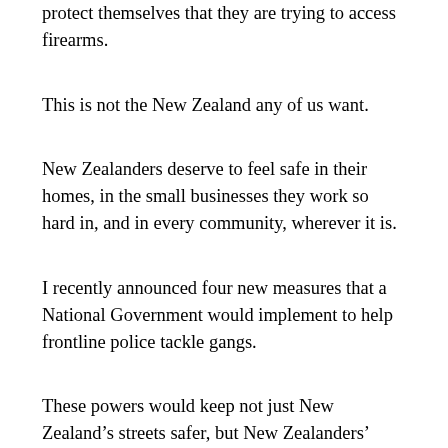protect themselves that they are trying to access firearms.
This is not the New Zealand any of us want.
New Zealanders deserve to feel safe in their homes, in the small businesses they work so hard in, and in every community, wherever it is.
I recently announced four new measures that a National Government would implement to help frontline police tackle gangs.
These powers would keep not just New Zealand's streets safer, but New Zealanders' homes too.
One: We will ban gang patches and insignia in public.
We already do this in government buildings like hospitals and